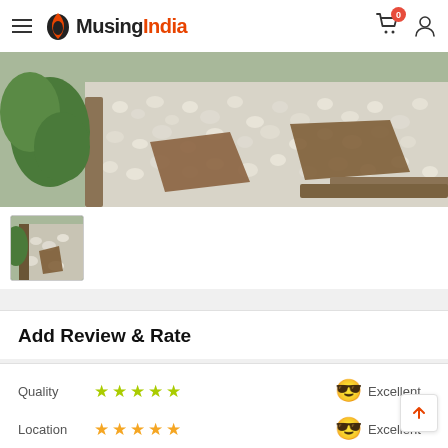MusingIndia
[Figure (photo): Garden path with white pebbles, flat brown stepping stones, and green plants]
[Figure (photo): Thumbnail of garden path with pebbles and grass]
Add Review & Rate
Quality ★★★★★ Excellent
Location ★★★★★ Excellent
Service ★★★★★ Excellent